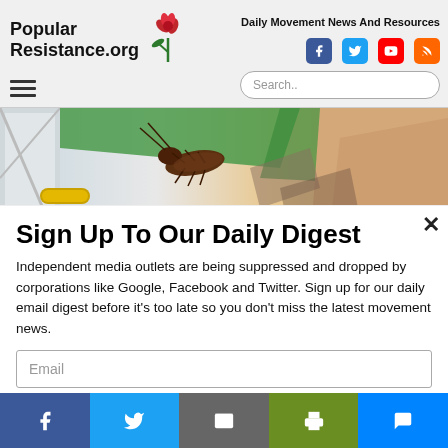Popular Resistance.org — Daily Movement News And Resources
[Figure (illustration): Illustration showing a cartoon cockroach on a drawer handle in a colorful scene]
Sign Up To Our Daily Digest
Independent media outlets are being suppressed and dropped by corporations like Google, Facebook and Twitter. Sign up for our daily email digest before it's too late so you don't miss the latest movement news.
Email
Social share bar: Facebook, Twitter, Email, Print, Messenger